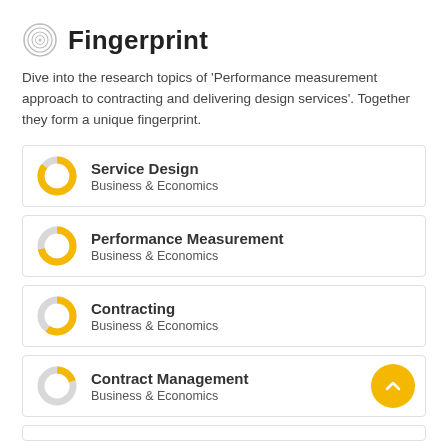Fingerprint
Dive into the research topics of 'Performance measurement approach to contracting and delivering design services'. Together they form a unique fingerprint.
Service Design
Business & Economics
Performance Measurement
Business & Economics
Contracting
Business & Economics
Contract Management
Business & Economics